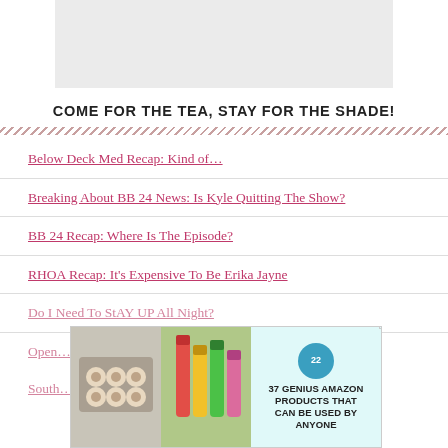[Figure (other): Gray placeholder advertisement banner at top of page]
COME FOR THE TEA, STAY FOR THE SHADE!
Below Deck Med Recap: Kind of…
Breaking About BB 24 News: Is Kyle Quitting The Show?
BB 24 Recap: Where Is The Episode?
RHOA Recap: It's Expensive To Be Erika Jayne
Do I Need To StAY UP All Night?
Open…
South…
[Figure (other): Popup advertisement overlay: 37 Genius Amazon Products That Can Be Used By Anyone, with food and makeup product images and a teal badge showing '22']